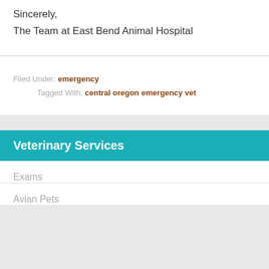Sincerely,
The Team at East Bend Animal Hospital
Filed Under: emergency
Tagged With: central oregon emergency vet
Veterinary Services
Exams
Avian Pets